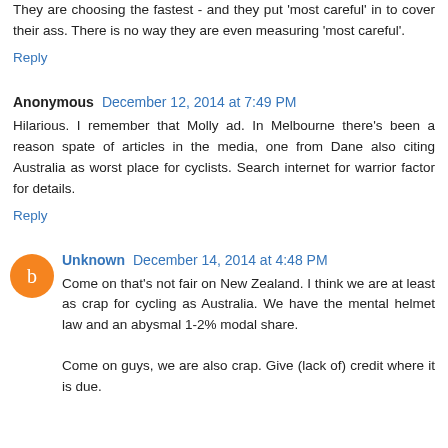They are choosing the fastest - and they put 'most careful' in to cover their ass. There is no way they are even measuring 'most careful'.
Reply
Anonymous December 12, 2014 at 7:49 PM
Hilarious. I remember that Molly ad. In Melbourne there's been a reason spate of articles in the media, one from Dane also citing Australia as worst place for cyclists. Search internet for warrior factor for details.
Reply
Unknown December 14, 2014 at 4:48 PM
Come on that's not fair on New Zealand. I think we are at least as crap for cycling as Australia. We have the mental helmet law and an abysmal 1-2% modal share.
Come on guys, we are also crap. Give (lack of) credit where it is due.